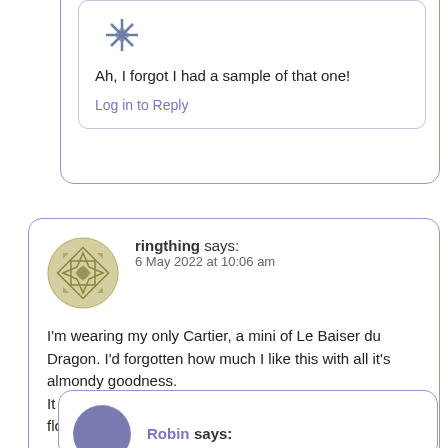Ah, I forgot I had a sample of that one!
Log in to Reply
ringthing says:
6 May 2022 at 10:06 am
I'm wearing my only Cartier, a mini of Le Baiser du Dragon. I'd forgotten how much I like this with all it's almondy goodness.
It was hard to stick to the CP with new swap perfumes floating around!
Log in to Reply
Robin says: